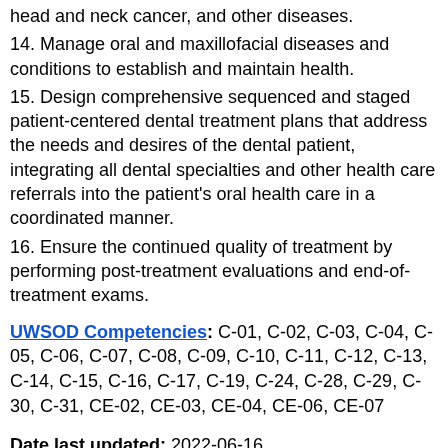head and neck cancer, and other diseases.
14. Manage oral and maxillofacial diseases and conditions to establish and maintain health.
15. Design comprehensive sequenced and staged patient-centered dental treatment plans that address the needs and desires of the dental patient, integrating all dental specialties and other health care referrals into the patient's oral health care in a coordinated manner.
16. Ensure the continued quality of treatment by performing post-treatment evaluations and end-of-treatment exams.
UWSOD Competencies: C-01, C-02, C-03, C-04, C-05, C-06, C-07, C-08, C-09, C-10, C-11, C-12, C-13, C-14, C-15, C-16, C-17, C-19, C-24, C-28, C-29, C-30, C-31, CE-02, CE-03, CE-04, CE-06, CE-07
Date last updated: 2022-06-16